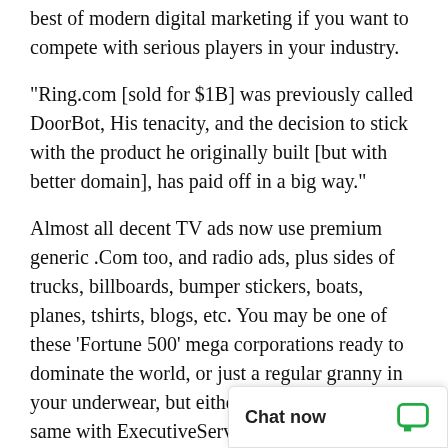best of modern digital marketing if you want to compete with serious players in your industry.
"Ring.com [sold for $1B] was previously called DoorBot, His tenacity, and the decision to stick with the product he originally built [but with better domain], has paid off in a big way."
Almost all decent TV ads now use premium generic .Com too, and radio ads, plus sides of trucks, billboards, bumper stickers, boats, planes, tshirts, blogs, etc. You may be one of these 'Fortune 500' mega corporations ready to dominate the world, or just a regular granny in your underwear, but either way you can look the same with ExecutiveServices.com.
DomainMarket.com is the only authorized pricing agent for this domain party seller. Every dor